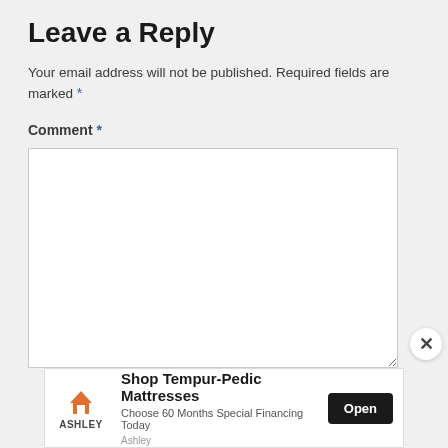Leave a Reply
Your email address will not be published. Required fields are marked *
Comment *
[Figure (screenshot): Comment text input area (empty white textarea with resize handle)]
[Figure (infographic): Advertisement banner: Ashley Furniture logo, 'Shop Tempur-Pedic Mattresses', 'Choose 60 Months Special Financing Today', Open button]